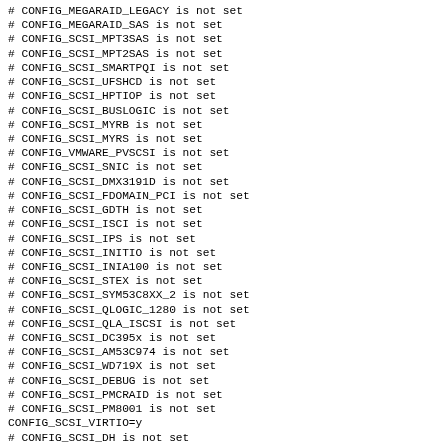# CONFIG_MEGARAID_LEGACY is not set
# CONFIG_MEGARAID_SAS is not set
# CONFIG_SCSI_MPT3SAS is not set
# CONFIG_SCSI_MPT2SAS is not set
# CONFIG_SCSI_SMARTPQI is not set
# CONFIG_SCSI_UFSHCD is not set
# CONFIG_SCSI_HPTIOP is not set
# CONFIG_SCSI_BUSLOGIC is not set
# CONFIG_SCSI_MYRB is not set
# CONFIG_SCSI_MYRS is not set
# CONFIG_VMWARE_PVSCSI is not set
# CONFIG_SCSI_SNIC is not set
# CONFIG_SCSI_DMX3191D is not set
# CONFIG_SCSI_FDOMAIN_PCI is not set
# CONFIG_SCSI_GDTH is not set
# CONFIG_SCSI_ISCI is not set
# CONFIG_SCSI_IPS is not set
# CONFIG_SCSI_INITIO is not set
# CONFIG_SCSI_INIA100 is not set
# CONFIG_SCSI_STEX is not set
# CONFIG_SCSI_SYM53C8XX_2 is not set
# CONFIG_SCSI_QLOGIC_1280 is not set
# CONFIG_SCSI_QLA_ISCSI is not set
# CONFIG_SCSI_DC395x is not set
# CONFIG_SCSI_AM53C974 is not set
# CONFIG_SCSI_WD719X is not set
# CONFIG_SCSI_DEBUG is not set
# CONFIG_SCSI_PMCRAID is not set
# CONFIG_SCSI_PM8001 is not set
CONFIG_SCSI_VIRTIO=y
# CONFIG_SCSI_DH is not set